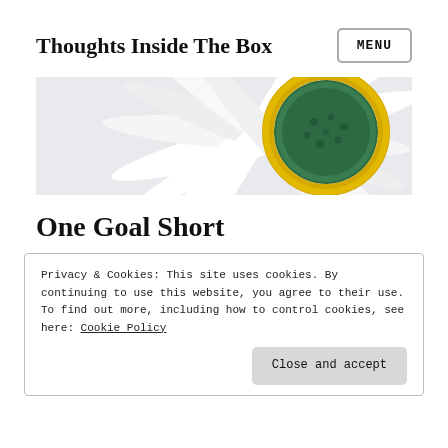Thoughts Inside The Box
[Figure (photo): Close-up photograph of a white daisy flower with a green and yellow center, petals fanning to the left, on a light background.]
One Goal Short
Privacy & Cookies: This site uses cookies. By continuing to use this website, you agree to their use.
To find out more, including how to control cookies, see here: Cookie Policy
Close and accept